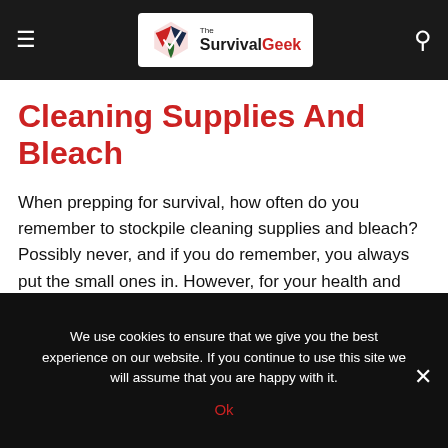The SurvivalGeek
Cleaning Supplies And Bleach
When prepping for survival, how often do you remember to stockpile cleaning supplies and bleach? Possibly never, and if you do remember, you always put the small ones in. However, for your health and safety, you should ensure you pack enough cleaning tools. Besides, some of this cleaning equipment, like bleaches, can be used in water treatment.
We use cookies to ensure that we give you the best experience on our website. If you continue to use this site we will assume that you are happy with it.
Ok